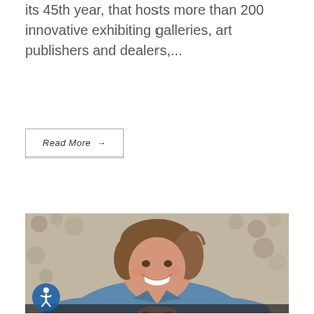its 45th year, that hosts more than 200 innovative exhibiting galleries, art publishers and dealers,...
Read More →
[Figure (photo): A smiling woman with short brown hair wearing a denim shirt, leaning forward on a dark surface, with an abstract artwork in the background. An accessibility icon (person in circle) appears in the bottom-left corner of the photo.]